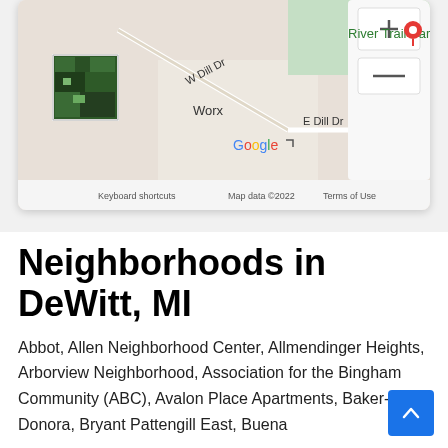[Figure (map): Google Maps screenshot showing area near River Trail Park, with W Dill Dr, E Dill Dr roads visible. Shows satellite thumbnail in lower left. Map data ©2022 Google. Keyboard shortcuts and Terms of Use links shown at bottom.]
Neighborhoods in DeWitt, MI
Abbot, Allen Neighborhood Center, Allmendinger Heights, Arborview Neighborhood, Association for the Bingham Community (ABC), Avalon Place Apartments, Baker-Donora, Bryant Pattengill East, Buena